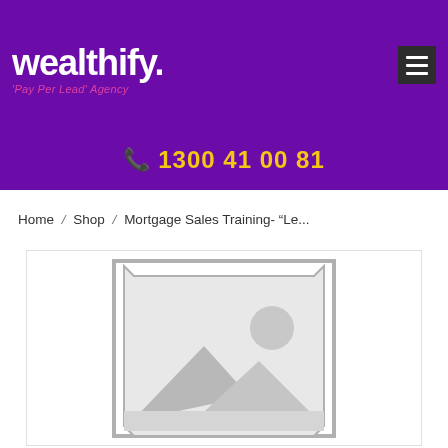wealthify. 'Pay Per Lead' Agency
📞 1300 41 00 81
Home / Shop / Mortgage Sales Training- "Le...
[Figure (photo): Placeholder image with mountain/landscape and sun icon indicating no product image available]